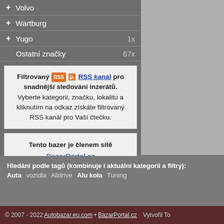+ Volvo
+ Wartburg
+ Yugo 1x
Ostatní značky 67x
Filtrovaný RSS RSS kanál pro snadnější sledování inzerátů. Vyberte kategorii, značku, lokalitu a kliknutím na odkaz získáte filtrovaný RSS kanál pro Vaší čtečku.
Tento bazer je členem sítě BazarPortal.cz Sdružením oborových online bazarů.
Hledání podle tagů (kombinuje i aktuální kategorii a filtry): Auta vozidla Alldrive Alu kola Tuning
© 2007 - 2022 Autobazar.eu.com + BazarPortal.cz Vytvořil To